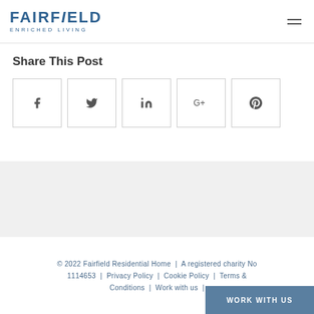FAIRFIELD ENRICHED LIVING
Share This Post
[Figure (other): Social sharing icons: Facebook (f), Twitter (bird), LinkedIn (in), Google+ (G+), Pinterest (P) — each in a bordered square box]
© 2022 Fairfield Residential Home | A registered charity No 1114653 | Privacy Policy | Cookie Policy | Terms & Conditions | Work with us | WORK WITH US